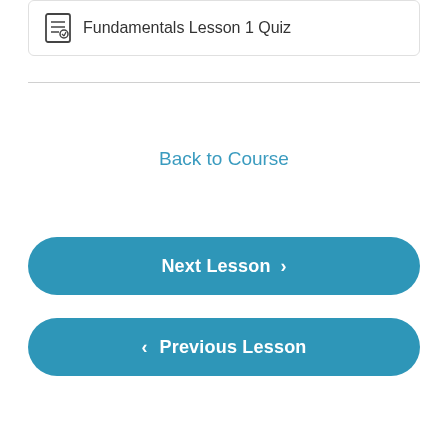Fundamentals Lesson 1 Quiz
Back to Course
Next Lesson
Previous Lesson